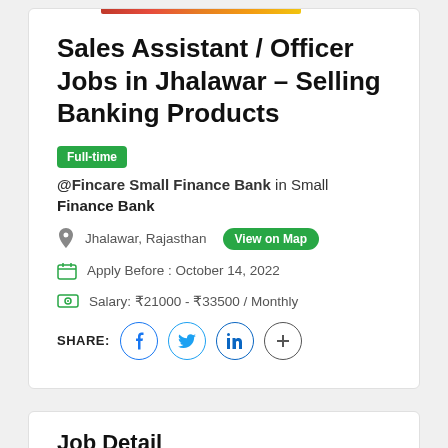[Figure (other): Colored gradient bar (red to yellow) decorative element at top of card]
Sales Assistant / Officer Jobs in Jhalawar – Selling Banking Products
Full-time @Fincare Small Finance Bank in Small Finance Bank
Jhalawar, Rajasthan  View on Map
Apply Before : October 14, 2022
Salary: ₹21000 - ₹33500 / Monthly
SHARE:
Job Detail